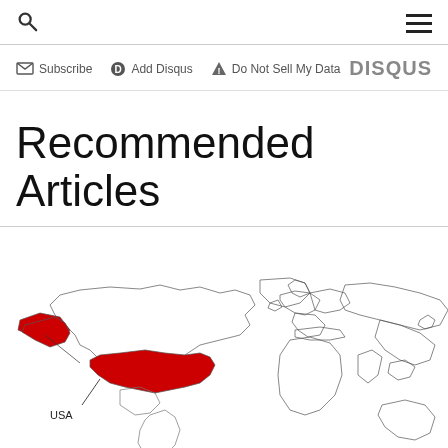Search | Menu
Subscribe  Add Disqus  Do Not Sell My Data  DISQUS
Recommended Articles
[Figure (map): World map with USA highlighted in red, showing Alaska and the contiguous United States labeled 'USA']